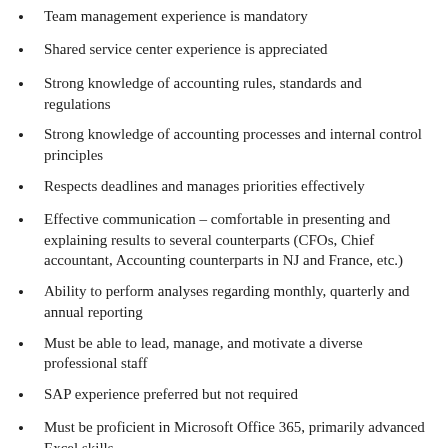Team management experience is mandatory
Shared service center experience is appreciated
Strong knowledge of accounting rules, standards and regulations
Strong knowledge of accounting processes and internal control principles
Respects deadlines and manages priorities effectively
Effective communication – comfortable in presenting and explaining results to several counterparts (CFOs, Chief accountant, Accounting counterparts in NJ and France, etc.)
Ability to perform analyses regarding monthly, quarterly and annual reporting
Must be able to lead, manage, and motivate a diverse professional staff
SAP experience preferred but not required
Must be proficient in Microsoft Office 365, primarily advanced Excel skills
Support the financial statement month-end close